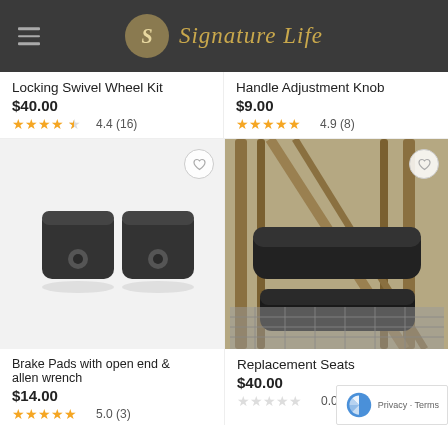Signature Life
Locking Swivel Wheel Kit
$40.00
4.4 (16)
Handle Adjustment Knob
$9.00
4.9 (8)
[Figure (photo): Two black rubber brake pad blocks with holes in the center, on white background]
[Figure (photo): Close-up of a mobility walker armrest/handle adjustment area with mesh fabric below]
Brake Pads with open end & allen wrench
$14.00
5.0 (3)
Replacement Seats
$40.00
0.0 (0)